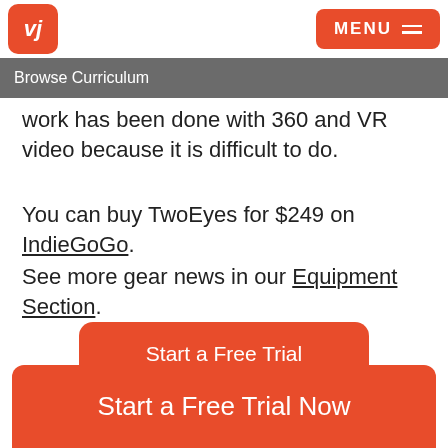vj | MENU
Browse Curriculum
work has been done with 360 and VR video because it is difficult to do.
You can buy TwoEyes for $249 on IndieGoGo.
See more gear news in our Equipment Section.
Start a Free Trial
Start a Free Trial Now